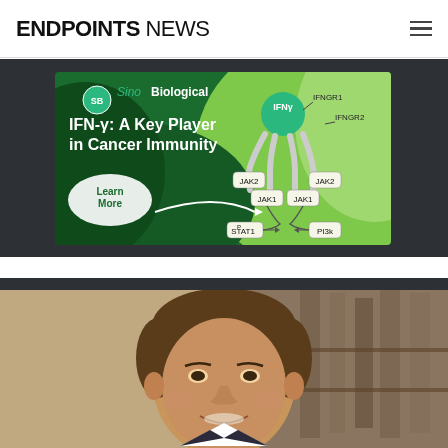ENDPOINTS NEWS
[Figure (illustration): Sino Biological advertisement: IFN-γ: A Key Player in Cancer Immunity. Shows IFN-γ receptor signaling diagram with IFNGR1, IFNGR2, JAK2, JAK1, STAT1, PI3K labels, and a Learn More button.]
[Figure (photo): Headshot photo of a middle-aged man smiling, wearing a suit, with a blurred background.]